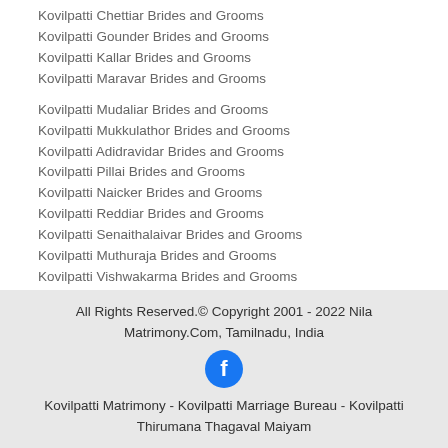Kovilpatti Chettiar Brides and Grooms
Kovilpatti Gounder Brides and Grooms
Kovilpatti Kallar Brides and Grooms
Kovilpatti Maravar Brides and Grooms
Kovilpatti Mudaliar Brides and Grooms
Kovilpatti Mukkulathor Brides and Grooms
Kovilpatti Adidravidar Brides and Grooms
Kovilpatti Pillai Brides and Grooms
Kovilpatti Naicker Brides and Grooms
Kovilpatti Reddiar Brides and Grooms
Kovilpatti Senaithalaivar Brides and Grooms
Kovilpatti Muthuraja Brides and Grooms
Kovilpatti Vishwakarma Brides and Grooms
More Kovilpatti Tamil Community Brides and Grooms
All Rights Reserved.© Copyright 2001 - 2022 Nila Matrimony.Com, Tamilnadu, India
Kovilpatti Matrimony - Kovilpatti Marriage Bureau - Kovilpatti Thirumana Thagaval Maiyam